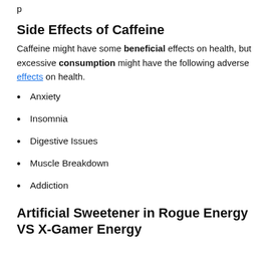p
Side Effects of Caffeine
Caffeine might have some beneficial effects on health, but excessive consumption might have the following adverse effects on health.
Anxiety
Insomnia
Digestive Issues
Muscle Breakdown
Addiction
Artificial Sweetener in Rogue Energy VS X-Gamer Energy